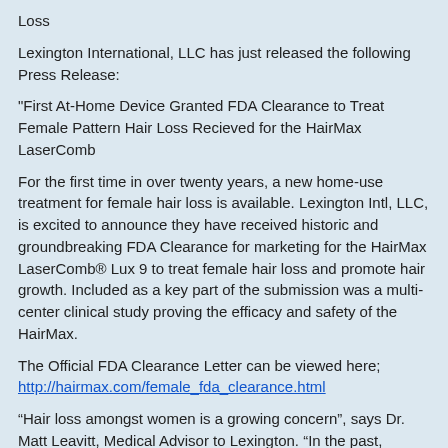Loss
Lexington International, LLC has just released the following Press Release:
"First At-Home Device Granted FDA Clearance to Treat Female Pattern Hair Loss Recieved for the HairMax LaserComb
For the first time in over twenty years, a new home-use treatment for female hair loss is available. Lexington Intl, LLC, is excited to announce they have received historic and groundbreaking FDA Clearance for marketing for the HairMax LaserComb® Lux 9 to treat female hair loss and promote hair growth. Included as a key part of the submission was a multi-center clinical study proving the efficacy and safety of the HairMax.
The Official FDA Clearance Letter can be viewed here; http://hairmax.com/female_fda_clearance.html
“Hair loss amongst women is a growing concern”, says Dr. Matt Leavitt, Medical Advisor to Lexington. “In the past, women had only one FDA Approved drug ingredient to treat their hair loss. Now they have a clinically proven viable alternative. Upon review of Lexington’s extensive clinical studies on female hair loss, the FDA has granted Clearance to this exciting new treatment option. I believe the HairMax will be able to offer help to the millions of women suffering from hair loss.”
The last hair loss treatment for women to be approved by the FDA was minoxidil, which came to market for females in 1988. The HairMax is